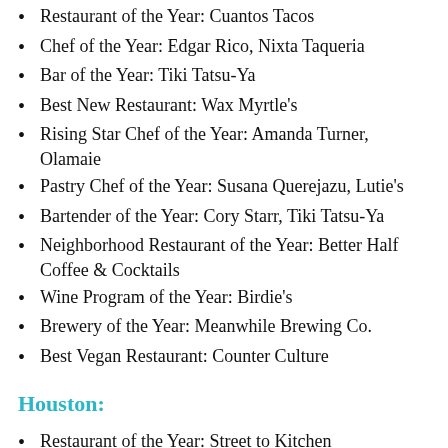Restaurant of the Year: Cuantos Tacos
Chef of the Year: Edgar Rico, Nixta Taqueria
Bar of the Year: Tiki Tatsu-Ya
Best New Restaurant: Wax Myrtle's
Rising Star Chef of the Year: Amanda Turner, Olamaie
Pastry Chef of the Year: Susana Querejazu, Lutie's
Bartender of the Year: Cory Starr, Tiki Tatsu-Ya
Neighborhood Restaurant of the Year: Better Half Coffee & Cocktails
Wine Program of the Year: Birdie's
Brewery of the Year: Meanwhile Brewing Co.
Best Vegan Restaurant: Counter Culture
Houston:
Restaurant of the Year: Street to Kitchen